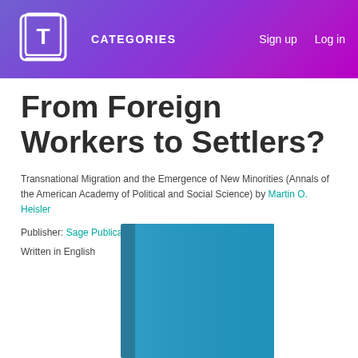CATEGORIES | Sign up | Log in
From Foreign Workers to Settlers?
Transnational Migration and the Emergence of New Minorities (Annals of the American Academy of Political and Social Science) by Martin O. Heisler
Publisher: Sage Publications
Written in English
[Figure (illustration): Book cover image showing a teal/blue colored book]